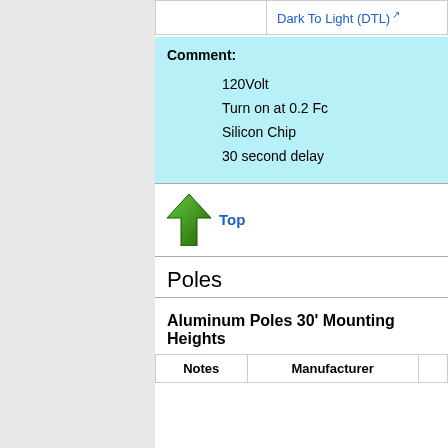|  |  |
| --- | --- |
|  | Dark To Light (DTL) ↗ |
Comment:
120Volt
Turn on at 0.2 Fc
Silicon Chip
30 second delay
Top
Poles
Aluminum Poles 30' Mounting Heights
| Notes | Manufacturer |  |
| --- | --- | --- |